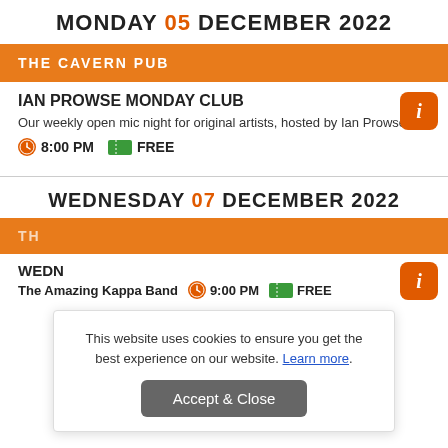MONDAY 05 DECEMBER 2022
THE CAVERN PUB
IAN PROWSE MONDAY CLUB
Our weekly open mic night for original artists, hosted by Ian Prowse!
8:00 PM  FREE
WEDNESDAY 07 DECEMBER 2022
TH[E CAVERN PUB]
WEDN[ESDAY]
The Amazing Kappa Band  9:00 PM  FREE
This website uses cookies to ensure you get the best experience on our website. Learn more.
Accept & Close